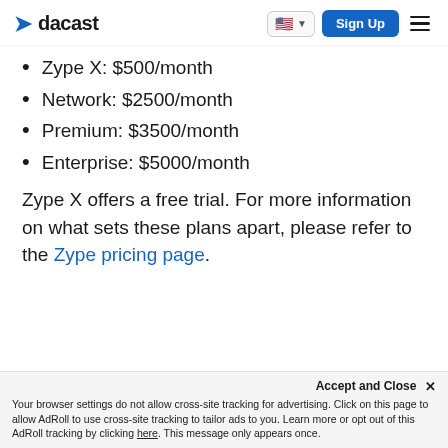dacast | Sign Up
Zype X: $500/month
Network: $2500/month
Premium: $3500/month
Enterprise: $5000/month
Zype X offers a free trial. For more information on what sets these plans apart, please refer to the Zype pricing page.
Accept and Close ✕
Your browser settings do not allow cross-site tracking for advertising. Click on this page to allow AdRoll to use cross-site tracking to tailor ads to you. Learn more or opt out of this AdRoll tracking by clicking here. This message only appears once.